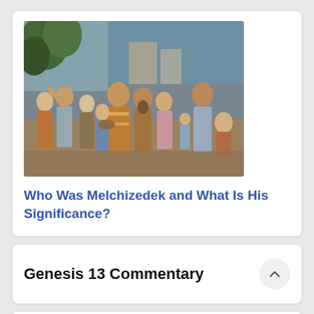[Figure (illustration): A classical painting depicting a large group of biblical figures gathered together, likely depicting a scene with Melchizedek. The figures are dressed in ancient robes and garments with warm earth tones and a blue sky background.]
Who Was Melchizedek and What Is His Significance?
Genesis 13 Commentary
Chapter 13
Abram returns out of Egypt with great riches. (1-4) Strife between the herdsmen